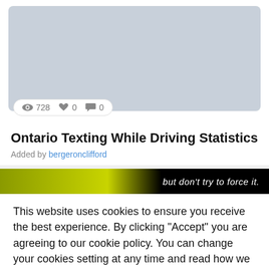[Figure (screenshot): Thumbnail image placeholder with light gray background]
👁 728  ♥ 0  💬 0
Ontario Texting While Driving Statistics
Added by bergeronclifford
[Figure (screenshot): Banner image with olive/green gradient on left and black on right, text reading 'but don't try to force it.']
This website uses cookies to ensure you receive the best experience. By clicking "Accept" you are agreeing to our cookie policy. You can change your cookies setting at any time and read how we use them in our Privacy & Cookies Policy.
Accept   Learn more